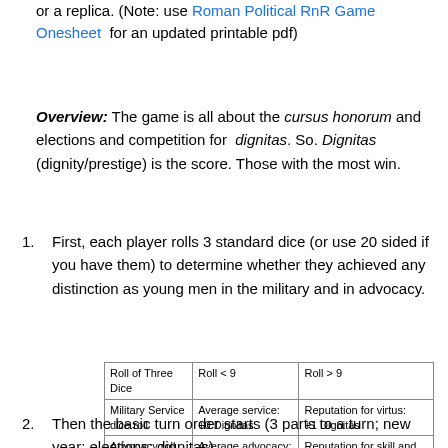or a replica. (Note: use Roman Political RnR Game Onesheet for an updated printable pdf)
Overview: The game is all about the cursus honorum and elections and competition for dignitas. So. Dignitas (dignity/prestige) is the score. Those with the most win.
First, each player rolls 3 standard dice (or use 20 sided if you have them) to determine whether they achieved any distinction as young men in the military and in advocacy.
| Roll of Three Dice | Roll < 9 | Roll > 9 |
| --- | --- | --- |
| Military Service dice roll | Average service:  +0 Dignitas | Reputation for virtus: +1 Dignitas |
| Advocacy roll | Average advocacy: + 0 Dignitas | Reputation for skill and integrity: +1 Dignitas |
Then the basic turn order starts (3 parts to a turn; new year; elections; dignitas)